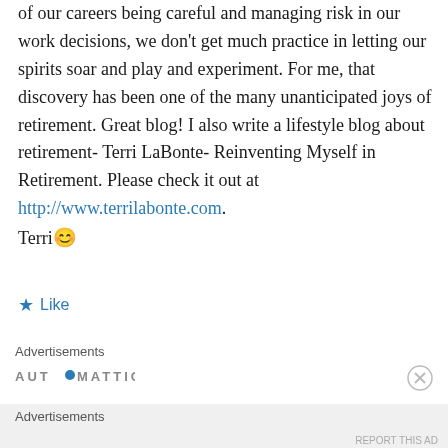of our careers being careful and managing risk in our work decisions, we don't get much practice in letting our spirits soar and play and experiment. For me, that discovery has been one of the many unanticipated joys of retirement. Great blog! I also write a lifestyle blog about retirement- Terri LaBonte- Reinventing Myself in Retirement. Please check it out at http://www.terrilabonte.com. Terri 😊
★ Like
Advertisements
[Figure (logo): Automattic logo with blue dot]
Advertisements